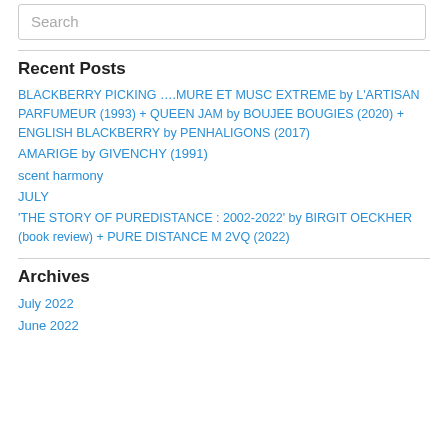Search
Recent Posts
BLACKBERRY PICKING ….MURE ET MUSC EXTREME by L'ARTISAN PARFUMEUR (1993) + QUEEN JAM by BOUJEE BOUGIES (2020) + ENGLISH BLACKBERRY by PENHALIGONS (2017)
AMARIGE by GIVENCHY (1991)
scent harmony
JULY
'THE STORY OF PUREDISTANCE : 2002-2022' by BIRGIT OECKHER (book review) + PURE DISTANCE M 2VQ (2022)
Archives
July 2022
June 2022